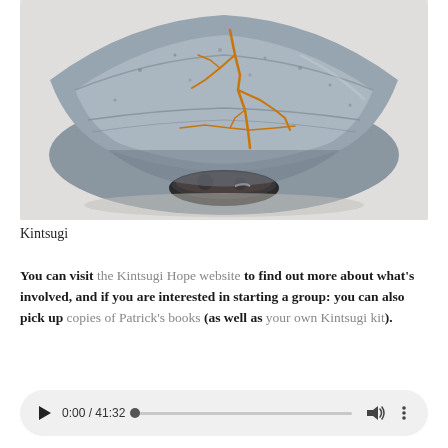[Figure (photo): A kintsugi ceramic bowl with blue-grey glaze and golden repair seams visible on the surface, photographed against a white/light grey background]
Kintsugi
You can visit the Kintsugi Hope website to find out more about what's involved, and if you are interested in starting a group: you can also pick up copies of Patrick's books (as well as your own Kintsugi kit).
[Figure (other): Audio player widget showing play button, time 0:00 / 41:32, progress bar, volume icon, and more options icon]